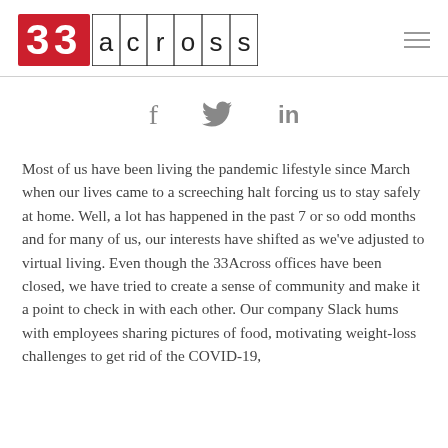33across
[Figure (logo): 33Across company logo with red stylized 33 and grid-boxed 'across' text]
[Figure (infographic): Social sharing icons: Facebook (f), Twitter (bird), LinkedIn (in)]
Most of us have been living the pandemic lifestyle since March when our lives came to a screeching halt forcing us to stay safely at home. Well, a lot has happened in the past 7 or so odd months and for many of us, our interests have shifted as we've adjusted to virtual living. Even though the 33Across offices have been closed, we have tried to create a sense of community and make it a point to check in with each other. Our company Slack hums with employees sharing pictures of food, motivating weight-loss challenges to get rid of the COVID-19,